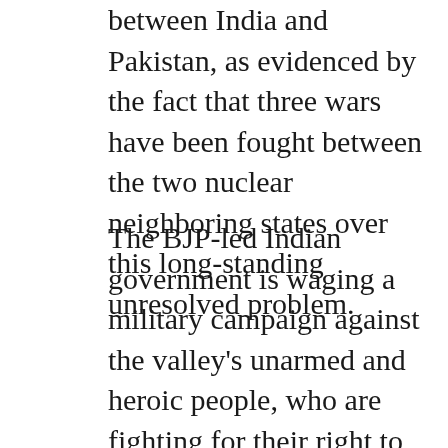between India and Pakistan, as evidenced by the fact that three wars have been fought between the two nuclear neighboring states over this long-standing unresolved problem.
The BJP-led Indian government is waging a military campaign against the valley's unarmed and heroic people, who are fighting for their right to self-determination in light of UN statements. Despite the fact that many international human rights organizations, UN bodies, and the international community are raising their voices against human rights violations by Indian forces in IIOJK, the Indian rulers remain adamant and continue to suppress the voices of Kashmiris, in clear violation of UN declarations and international laws.